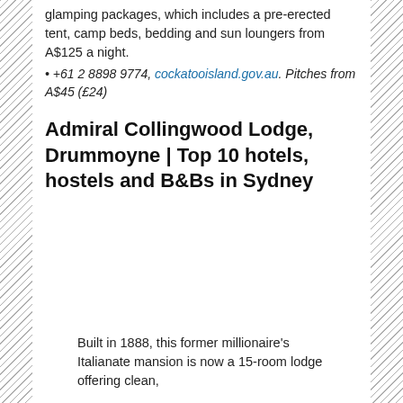glamping packages, which includes a pre-erected tent, camp beds, bedding and sun loungers from A$125 a night.
• +61 2 8898 9774, cockatooisland.gov.au. Pitches from A$45 (£24)
Admiral Collingwood Lodge, Drummoyne | Top 10 hotels, hostels and B&Bs in Sydney
[Figure (photo): Photo of Admiral Collingwood Lodge]
Built in 1888, this former millionaire's Italianate mansion is now a 15-room lodge offering clean,